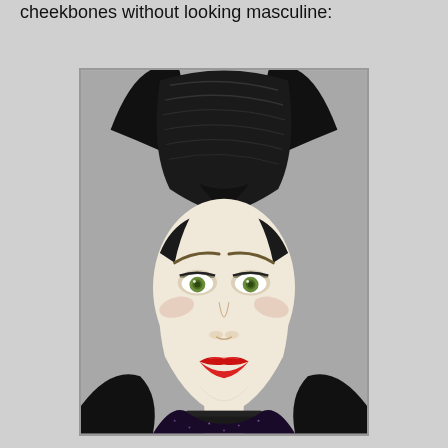cheekbones without looking masculine:
[Figure (photo): Close-up photo of a Maleficent character doll with black horned headdress, green eyes, red lips, pale skin, and dark black costume with collar details against a gray background.]